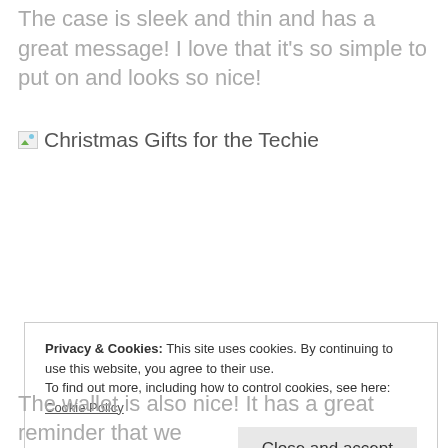The case is sleek and thin and has a great message! I love that it's so simple to put on and looks so nice!
[Figure (other): Broken image placeholder with label 'Christmas Gifts for the Techie']
Privacy & Cookies: This site uses cookies. By continuing to use this website, you agree to their use.
To find out more, including how to control cookies, see here: Cookie Policy
The wallet is also nice! It has a great reminder that we